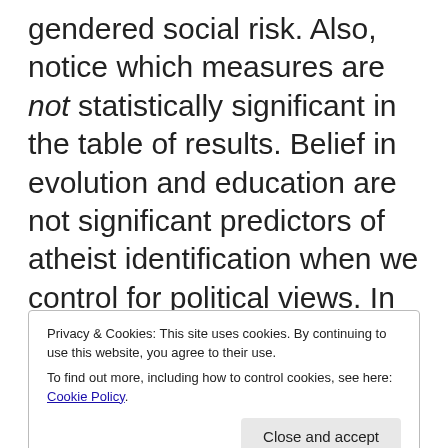gendered social risk. Also, notice which measures are not statistically significant in the table of results. Belief in evolution and education are not significant predictors of atheist identification when we control for political views. In these models, the difference
Privacy & Cookies: This site uses cookies. By continuing to use this website, you agree to their use.
To find out more, including how to control cookies, see here: Cookie Policy